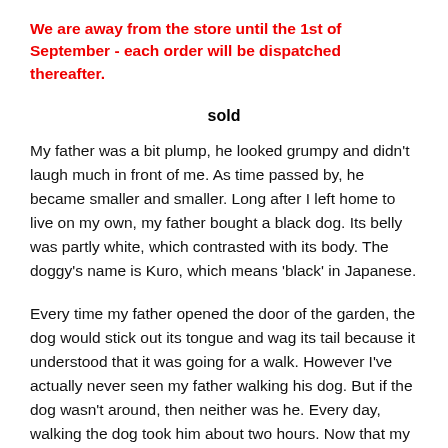We are away from the store until the 1st of September - each order will be dispatched thereafter.
sold
My father was a bit plump, he looked grumpy and didn't laugh much in front of me. As time passed by, he became smaller and smaller. Long after I left home to live on my own, my father bought a black dog. Its belly was partly white, which contrasted with its body. The doggy's name is Kuro, which means 'black' in Japanese.
Every time my father opened the door of the garden, the dog would stick out its tongue and wag its tail because it understood that it was going for a walk. However I've actually never seen my father walking his dog. But if the dog wasn't around, then neither was he. Every day, walking the dog took him about two hours. Now that my father has passed away, I do it in his stead.
Whenever I walk the dog, I have flashes of memories of my father